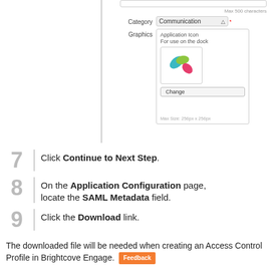[Figure (screenshot): Screenshot of an application form showing Category dropdown set to 'Communication' and a Graphics section with Application Icon, For use on the dock label, a colorful butterfly/leaf icon preview, a Change button, and Max Size: 256px x 256px label.]
7  Click Continue to Next Step.
8  On the Application Configuration page, locate the SAML Metadata field.
9  Click the Download link.
The downloaded file will be needed when creating an Access Control Profile in Brightcove Engage.